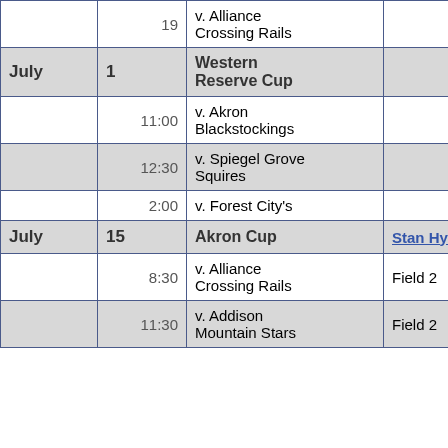| Month | Day | Event | Venue |
| --- | --- | --- | --- |
|  | 19 | v. Alliance Crossing Rails |  |
| July | 1 | Western Reserve Cup |  |
|  | 11:00 | v. Akron Blackstockings |  |
|  | 12:30 | v. Spiegel Grove Squires |  |
|  | 2:00 | v. Forest City's |  |
| July | 15 | Akron Cup | Stan Hywet Hall & Gardens |
|  | 8:30 | v. Alliance Crossing Rails | Field 2 |
|  | 11:30 | v. Addison Mountain Stars | Field 2 |